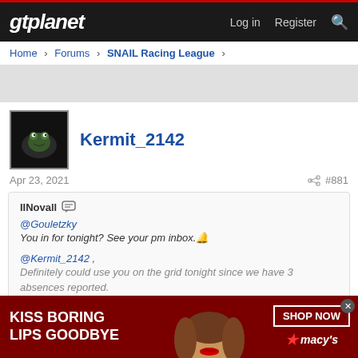gtplanet — Log in  Register  [search]
Home > Forums > SNAIL Racing League >
Kermit_2142
Apr 23, 2021  #881
IINovall [reply icon]
@Gouletzky
You in for tonight? See your pm inbox.🔔

@Kermit_2142 ,
Definitely could use you on the grid tonight since we have 3 absences reported.
[Figure (infographic): Macy's advertisement banner: dark red background, text 'KISS BORING LIPS GOODBYE', image of woman's face with red lipstick, 'SHOP NOW' button, Macy's star logo]